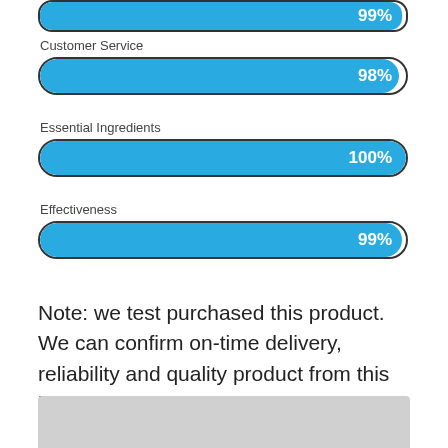[Figure (bar-chart): Rating bars]
Note: we test purchased this product. We can confirm on-time delivery, reliability and quality product from this brand.
[Figure (photo): Partial bottom image, appears to be a product or map image, mostly grey/white.]